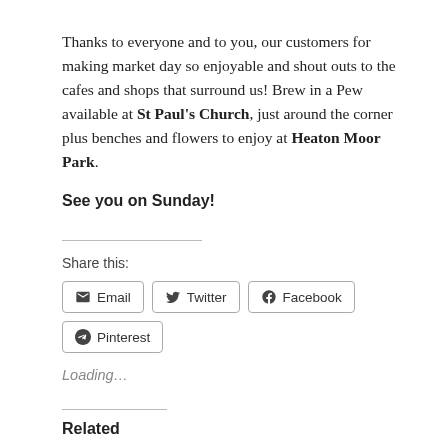Thanks to everyone and to you, our customers for making market day so enjoyable and shout outs to the cafes and shops that surround us! Brew in a Pew available at St Paul's Church, just around the corner plus benches and flowers to enjoy at Heaton Moor Park.
See you on Sunday!
Share this:
Email  Twitter  Facebook  Pinterest
Loading…
Related
Market Day Sunday   HEATON MOOR